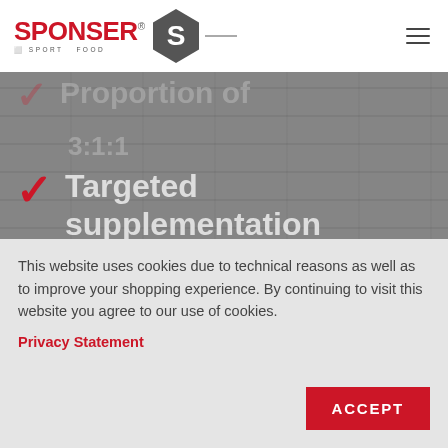SPONSER SPORT FOOD logo and navigation
[Figure (screenshot): Dark gray tiled background showing a list of product benefits with red checkmarks: (faded) Proportion of, (faded) 3:1:1, Targeted supplementation of the 3 essential amino acids, (partial) Neutral tasting]
Proportion of
3:1:1
Targeted supplementation of the 3 essential amino acids
Neutral tasting
This website uses cookies due to technical reasons as well as to improve your shopping experience. By continuing to visit this website you agree to our use of cookies.
Privacy Statement
ACCEPT